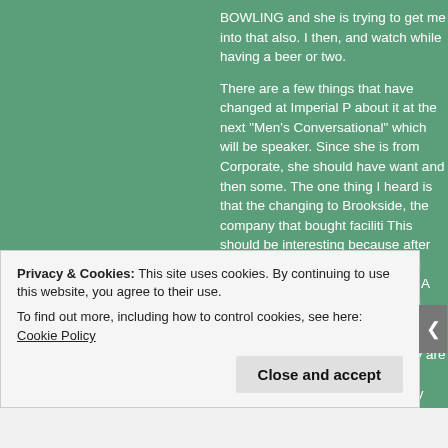BOWLING and she is trying to get me into that also. I then, and watch while having a beer or two.

There are a few things that have changed at Imperial P about it at the next "Men's Conversational" which will be speaker. Since she is from Corporate, she should have want and then some. The one thing I heard is that the changing to Brookside, the company that bought faciliti This should be interesting because after calling a place to call it something else. I still say Mosque instead of A Richmond know what I am talking about. All others can I will explain).

Virginia is a place to behold. They are so against gamb very hard to get lotto) that they not only repeatedly turn Indians wanted it like in other states) but now the only h
Privacy & Cookies: This site uses cookies. By continuing to use this website, you agree to their use.
To find out more, including how to control cookies, see here: Cookie Policy

Close and accept